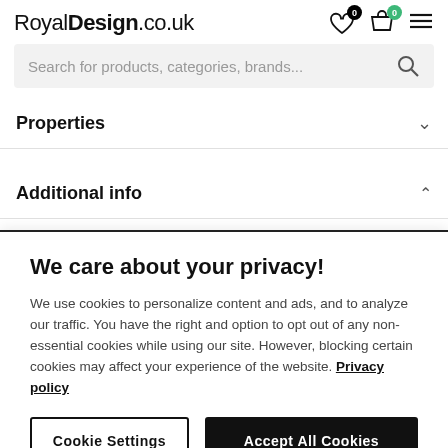RoyalDesign.co.uk
Search for products, categories, brands...
Properties
Additional info
We care about your privacy!
We use cookies to personalize content and ads, and to analyze our traffic. You have the right and option to opt out of any non-essential cookies while using our site. However, blocking certain cookies may affect your experience of the website. Privacy policy
Cookie Settings
Accept All Cookies